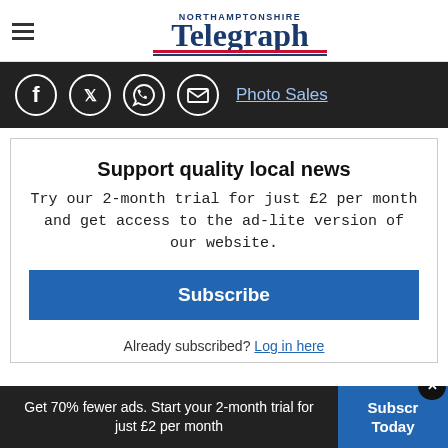Northamptonshire Telegraph
Photo Sales
Support quality local news
Try our 2-month trial for just £2 per month and get access to the ad-lite version of our website.
Subscribe
Already subscribed? Log in here
Get 70% fewer ads. Start your 2-month trial for just £2 per month  Subscribe Today